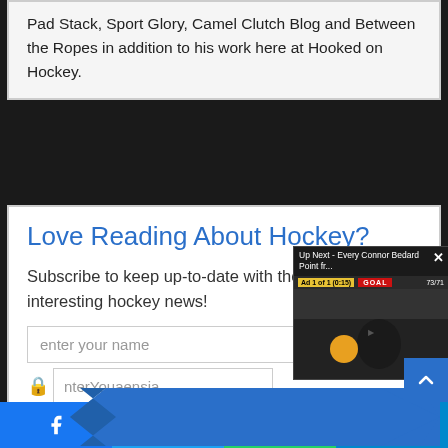Pad Stack, Sport Glory, Camel Clutch Blog and Between the Ropes in addition to his work here at Hooked on Hockey.
Love Reading About Hockey?
Subscribe to keep up-to-date with the latest and interesting hockey news!
enter your name
enter your email
[Figure (screenshot): Video popup overlay showing 'Up Next - Every Connor Bedard Point fr...' with a GOAL banner and hockey video thumbnail]
[Figure (other): Blue arrow/ribbon shaped subscribe button]
Facebook share | Twitter share | WhatsApp share | Telegram share